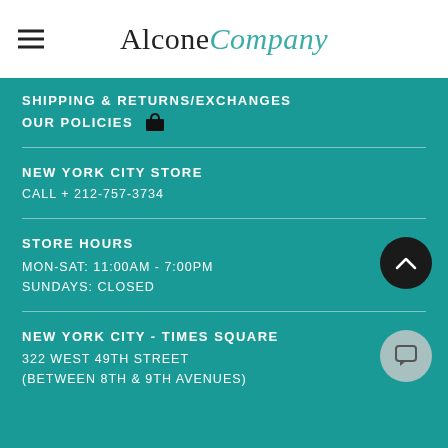Alcone Company
SHIPPING & RETURNS/EXCHANGES
OUR POLICIES
NEW YORK CITY STORE
CALL + 212-757-3734
STORE HOURS
MON-SAT: 11:00AM - 7:00PM
SUNDAYS: CLOSED
NEW YORK CITY - TIMES SQUARE
322 WEST 49TH STREET
(BETWEEN 8TH & 9TH AVENUES)